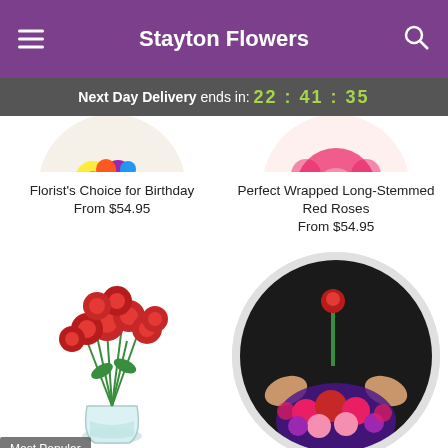Stayton Flowers
Next Day Delivery ends in: 22:41:35
[Figure (photo): Partially visible circular image of colorful birthday flowers (yellow sunflowers, purple flowers) at top left]
[Figure (photo): Partially visible circular image of pink/red flowers at top right]
Florist's Choice for Birthday
From $54.95
Perfect Wrapped Long-Stemmed Red Roses
From $54.95
[Figure (photo): Bouquet of red roses in a glass vase with white baby's breath and green leaves]
Most Popular
[Figure (photo): Circular image of a person in black shirt holding a single red rose above a colorful mixed bouquet of red gerberas, pink carnations, purple flowers]